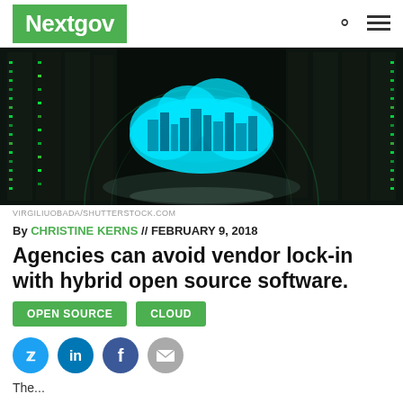Nextgov
[Figure (photo): Data center with server racks on both sides, dark background with green lights, a glowing cyan cloud icon with circuit/city building patterns inside, centered in the image]
VIRGILIUOBADA/SHUTTERSTOCK.COM
By CHRISTINE KERNS // FEBRUARY 9, 2018
Agencies can avoid vendor lock-in with hybrid open source software.
OPEN SOURCE
CLOUD
[Figure (illustration): Four social media sharing icons: Twitter (blue circle), LinkedIn (blue circle), Facebook (dark blue circle), Email/envelope (gray circle)]
The...